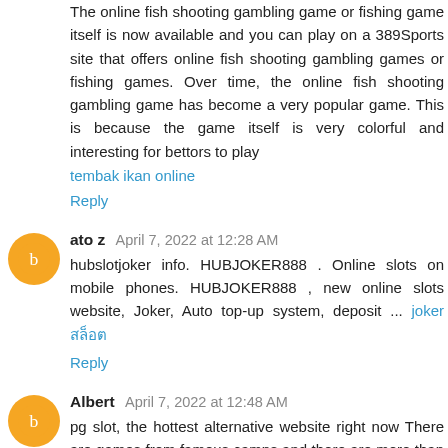The online fish shooting gambling game or fishing game itself is now available and you can play on a 389Sports site that offers online fish shooting gambling games or fishing games. Over time, the online fish shooting gambling game has become a very popular game. This is because the game itself is very colorful and interesting for bettors to play
tembak ikan online
Reply
ato z  April 7, 2022 at 12:28 AM
hubslotjoker info. HUBJOKER888 . Online slots on mobile phones. HUBJOKER888 , new online slots website, Joker, Auto top-up system, deposit ... joker สล็อต
Reply
Albert  April 7, 2022 at 12:48 AM
pg slot, the hottest alternative website right now There are games from famous camps and there are more than 200 pg slots auto to choose from, complete in one bag. It's clear